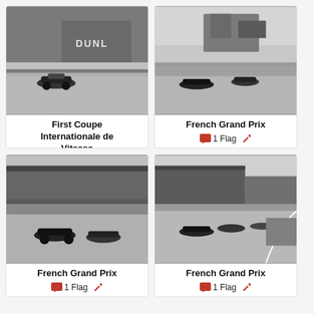[Figure (photo): Black and white photo of a racing car on a track with DUNLOP signage in the background]
First Coupe Internationale de Vitesse
0 Flags
[Figure (photo): Black and white photo of vintage racing cars on a circuit with grandstands and buildings in the background]
French Grand Prix
1 Flag
[Figure (photo): Black and white photo of racing cars on a track with large grandstands filled with spectators]
French Grand Prix
1 Flag
[Figure (photo): Black and white photo of racing cars on a circuit with grandstands and spectators]
French Grand Prix
1 Flag